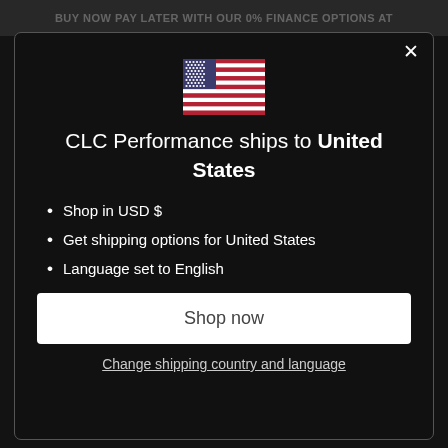BUY NOW PAY LATER WITH OUR 0% FINANCE OPTIONS AT
[Figure (illustration): US flag icon]
CLC Performance ships to United States
Shop in USD $
Get shipping options for United States
Language set to English
Shop now
Change shipping country and language